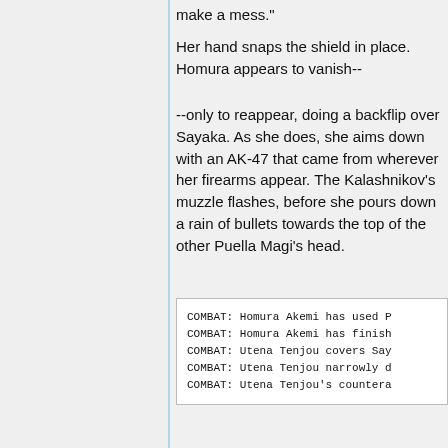make a mess."
Her hand snaps the shield in place. Homura appears to vanish--
--only to reappear, doing a backflip over Sayaka. As she does, she aims down with an AK-47 that came from wherever her firearms appear. The Kalashnikov's muzzle flashes, before she pours down a rain of bullets towards the top of the other Puella Magi's head.
COMBAT: Homura Akemi has used P
COMBAT: Homura Akemi has finish
COMBAT: Utena Tenjou covers Say
COMBAT: Utena Tenjou narrowly d
COMBAT: Utena Tenjou's countera